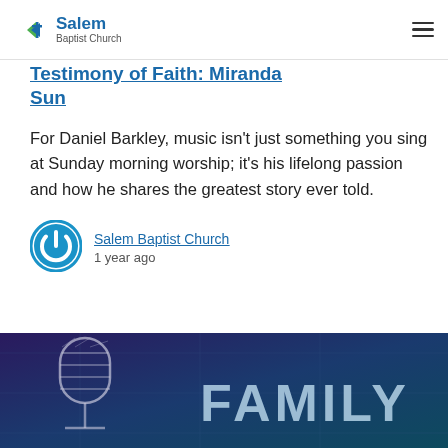Salem Baptist Church
Testimony of Faith: Miranda Sun
For Daniel Barkley, music isn't just something you sing at Sunday morning worship; it's his lifelong passion and how he shares the greatest story ever told.
Salem Baptist Church
1 year ago
[Figure (illustration): Bottom banner with dark blue/purple gradient background showing a microphone graphic and the word FAMILY in large light blue letters]